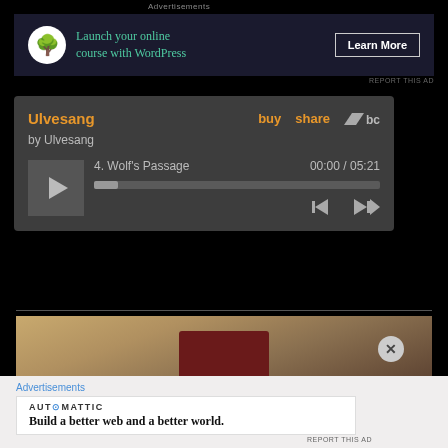Advertisements
[Figure (screenshot): Advertisement banner: Launch your online course with WordPress - Learn More button. Dark navy background with bonsai tree icon in white circle and teal text.]
[Figure (screenshot): Bandcamp embedded music player showing 'Ulvesang' with track '4. Wolf's Passage' (00:00 / 05:21). Dark gray player with orange title text, buy/share links, play button, progress bar, and navigation controls.]
[Figure (photo): Partial photo of wooden surface with a dark red book, bottom portion of page visible.]
Advertisements
[Figure (screenshot): Advertisement by Automattic: 'Build a better web and a better world.' White box with Automattic logo and bold serif text.]